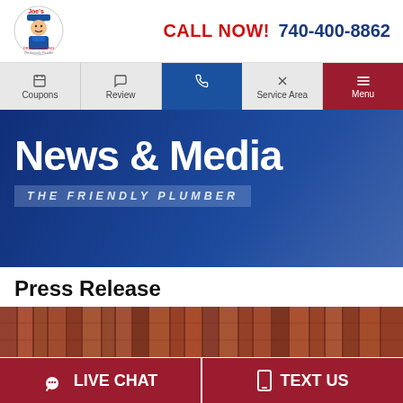[Figure (logo): Joe's Drain Cleaning logo with plumber mascot and tagline 'The Friendly Plumber']
CALL NOW! 740-400-8862
[Figure (screenshot): Navigation bar with Coupons, Review, phone icon (active/blue), Service Area, and Menu (red) items]
[Figure (photo): Hero banner with blue overlay showing plumber at work]
News & Media
THE FRIENDLY PLUMBER
Press Release
[Figure (photo): Partial image strip showing pipes or plumbing materials in brown/rust tones]
LIVE CHAT
TEXT US